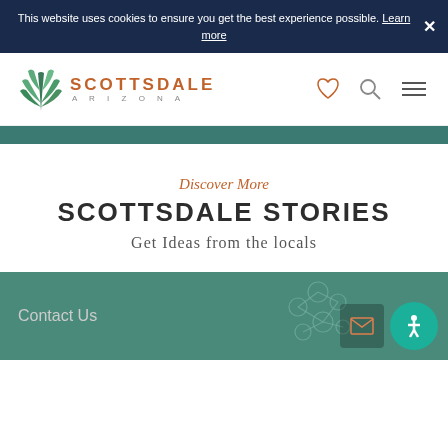This website uses cookies to ensure you get the best experience possible. Learn more
[Figure (logo): Scottsdale Arizona agave plant logo with text SCOTTSDALE ARIZONA]
Discover More
SCOTTSDALE STORIES
Get Ideas from the locals
Contact Us